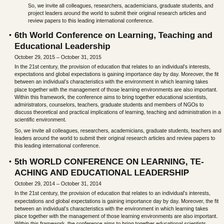So, we invite all colleagues, researchers, academicians, graduate students, and project leaders around the world to submit their original research articles and review papers to this leading international conference.
6th World Conference on Learning, Teaching and Educational Leadership
October 29, 2015 – October 31, 2015
In the 21st century, the provision of education that relates to an individual's interests, expectations and global expectations is gaining importance day by day. Moreover, the fit between an individual's characteristics with the environment in which learning takes place together with the management of those learning environments are also important. Within this framework, the conference aims to bring together educational scientists, administrators, counselors, teachers, graduate students and members of NGOs to discuss the theoretical and practical implications of learning, teaching and administration in a scientific environment.
So, we invite all colleagues, researchers, academicians, graduate students, teachers and leaders around the world to submit their original research articles and review papers to this leading international conference.
5th WORLD CONFERENCE ON LEARNING, TEACHING AND EDUCATIONAL LEADERSHIP
October 29, 2014 – October 31, 2014
In the 21st century, the provision of education that relates to an individual's interests, expectations and global expectations is gaining importance day by day. Moreover, the fit between an individual's characteristics with the environment in which learning takes place together with the management of those learning environments are also important. Within this framework, the conference aims to bring together educational scientists, administrators, counselors, teachers, graduate students and members of NGOs to discuss the theoretical and practical implications of learning, teaching and administration in a scientific environment.
So, we invite all colleagues, researchers, academicians, graduate students, teachers and leaders around the world to submit their original research articles and review papers to this leading international conference.